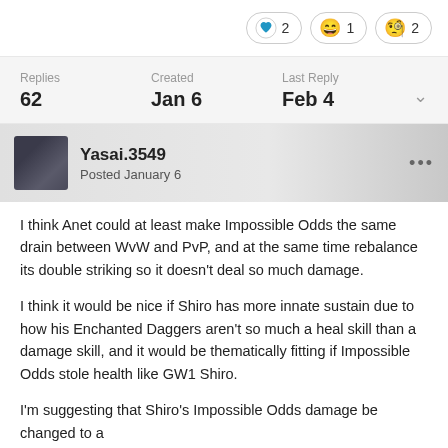[Figure (infographic): Reaction buttons: heart icon with count 2, laughing emoji with count 1, monocle emoji with count 2]
| Replies | Created | Last Reply |
| --- | --- | --- |
| 62 | Jan 6 | Feb 4 |
Yasai.3549
Posted January 6
I think Anet could at least make Impossible Odds the same drain between WvW and PvP, and at the same time rebalance its double striking so it doesn't deal so much damage.
I think it would be nice if Shiro has more innate sustain due to how his Enchanted Daggers aren't so much a heal skill than a damage skill, and it would be thematically fitting if Impossible Odds stole health like GW1 Shiro.
I'm suggesting that Shiro's Impossible Odds damage be changed to a